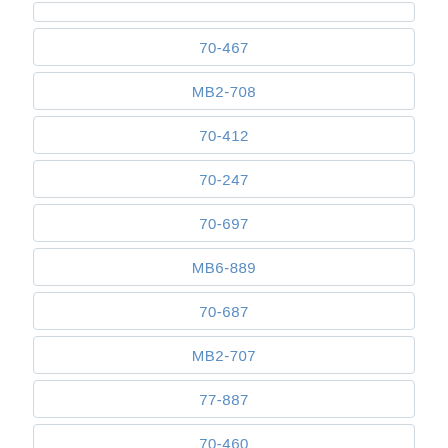70-467
MB2-708
70-412
70-247
70-697
MB6-889
70-687
MB2-707
77-887
70-460